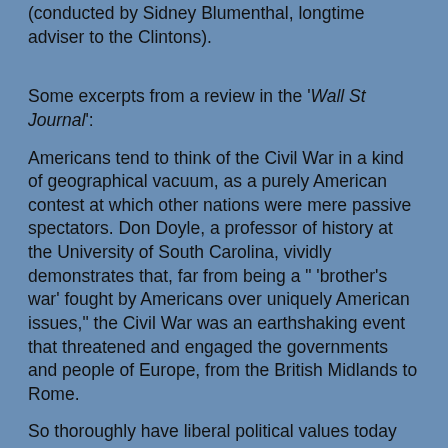(conducted by Sidney Blumenthal, longtime adviser to the Clintons).
Some excerpts from a review in the 'Wall St Journal':
Americans tend to think of the Civil War in a kind of geographical vacuum, as a purely American contest at which other nations were mere passive spectators. Don Doyle, a professor of history at the University of South Carolina, vividly demonstrates that, far from being a " 'brother's war' fought by Americans over uniquely American issues," the Civil War was an earthshaking event that threatened and engaged the governments and people of Europe, from the British Midlands to Rome.
So thoroughly have liberal political values today triumphed around the world, says Mr. Doyle, that it is hard to remember that, a century and a half ago, the United States was the world's only significant republic. European reactionaries and defenders of a hierarchical status quo exulted when America's liberal democracy was in peril and to all...